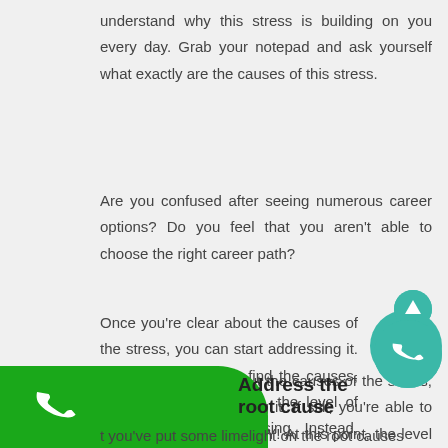understand why this stress is building on you every day. Grab your notepad and ask yourself what exactly are the causes of this stress.
Are you confused after seeing numerous career options? Do you feel that you aren't able to choose the right career path?
[Figure (illustration): Teal circle avatar with person thinking, in bottom right area of second paragraph]
Once you're clear about the causes of the stress, you can start addressing it. If still, you're able to find the causes, it's OKAY! At this point, the level of stress will keep increasing. Instead, become a keen observer and notice where things go upside down.
[Figure (illustration): Teal circle with upward arrow (scroll to top button)]
[Figure (illustration): Teal circle with phone icon]
[Figure (illustration): Green rounded banner with white phone icon on left]
Address the root cause
t you've put some limelight on the root causes